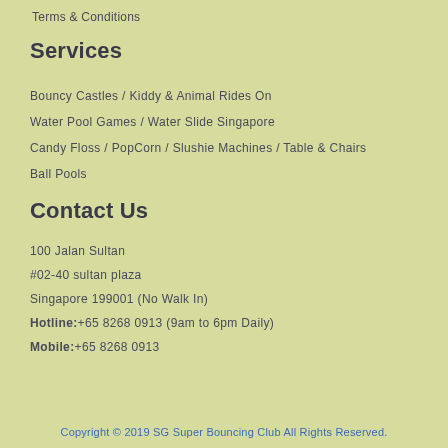Terms & Conditions
Services
Bouncy Castles / Kiddy & Animal Rides On
Water Pool Games / Water Slide Singapore
Candy Floss / PopCorn / Slushie Machines / Table & Chairs
Ball Pools
Contact Us
100 Jalan Sultan
#02-40 sultan plaza
Singapore 199001 (No Walk In)
Hotline:+65 8268 0913 (9am to 6pm Daily)
Mobile:+65 8268 0913
Copyright © 2019 SG Super Bouncing Club All Rights Reserved.